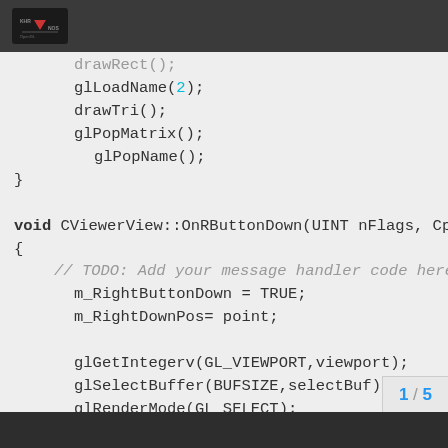Khronos logo header
Code snippet showing OpenGL C++ code: drawRect(), glLoadName(2), drawTri(), glPopMatrix(), glPopName(), closing brace, void CViewerView::OnRButtonDown(UINT nFlags, CP opening brace, // TODO: Add your message handler code here, m_RightButtonDown = TRUE, m_RightDownPos= point, glGetIntegerv(GL_VIEWPORT,viewport), glSelectBuffer(BUFSIZE,selectBuf), glRenderMode(GL_SELECT), glMatrixMode(GL_PROJECTION), glPushMatrix()
1 / 5